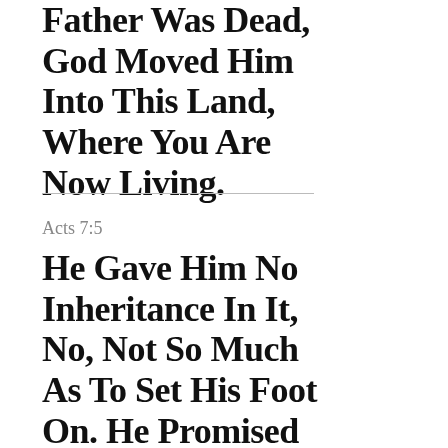Father Was Dead, God Moved Him Into This Land, Where You Are Now Living.
Acts 7:5
He Gave Him No Inheritance In It, No, Not So Much As To Set His Foot On. He Promised That He Would